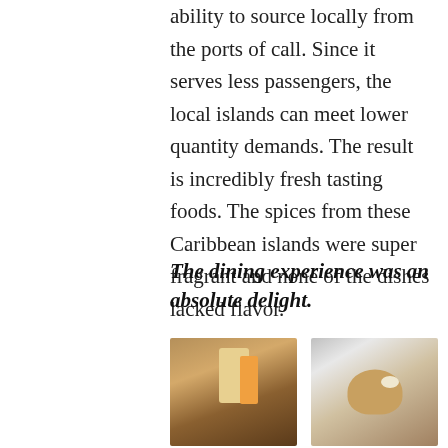ability to source locally from the ports of call. Since it serves less passengers, the local islands can meet lower quantity demands. The result is incredibly fresh tasting foods. The spices from these Caribbean islands were super fragrant and none of the dishes lacked flavor.
The dining experience was an absolute delight.
[Figure (photo): Plate with vegetables and garnishes in a cup on a white plate with silver rim]
[Figure (photo): Elegantly plated dish on a white plate with silver rim at a restaurant]